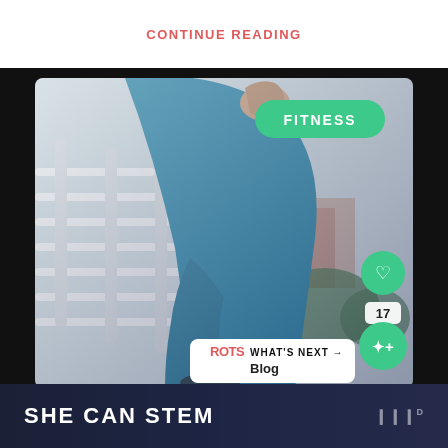CONTINUE READING
[Figure (photo): Woman wearing teal/blue athletic leggings on outdoor stairs, cropped mid-body shot, with FITNESS badge overlay, heart/like button with count 17, share button, and WHAT'S NEXT Blog navigation element]
FITNESS
17
WHAT'S NEXT → Blog
SHE CAN STEM